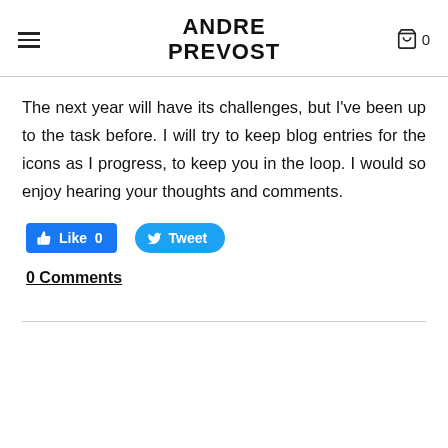ANDRE PREVOST
The next year will have its challenges, but I've been up to the task before. I will try to keep blog entries for the icons as I progress, to keep you in the loop. I would so enjoy hearing your thoughts and comments.
[Figure (screenshot): Facebook Like button with count 0 and Twitter Tweet button]
0 Comments